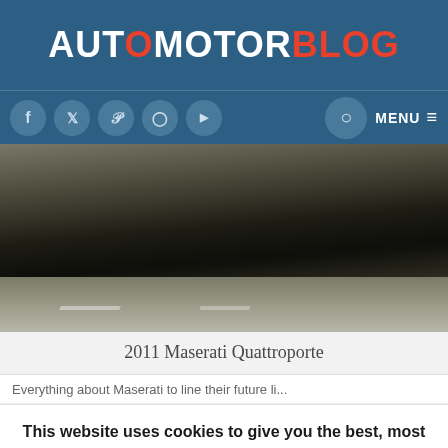AUTOMOTORBLOG
[Figure (photo): Black Maserati Quattroporte sedan driving on highway, rear three-quarter view, motion-blurred background]
2011 Maserati Quattroporte
Everything about Maserati to line their future li...
This website uses cookies to give you the best, most relevant experience. Using this website means you're ok with this.